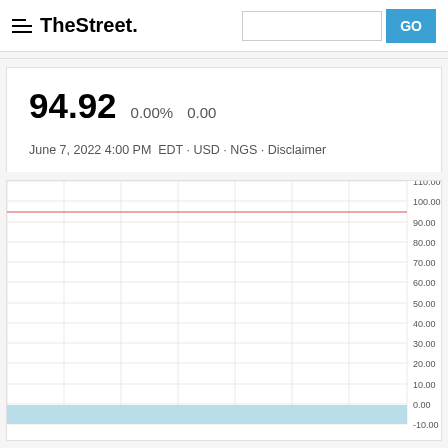TheStreet
94.92   0.00%   0.00
June 7, 2022 4:00 PM  EDT · USD · NGS · Disclaimer
[Figure (continuous-plot): Stock price chart for a single trading day. A red horizontal line near 94.92 spans the full width of the chart at roughly the 94-95 price level. Vertical gridlines divide the chart into 7 sections. Horizontal gridlines mark price levels from -10 to 110 in increments of 10. A light blue filled area appears at the very bottom of the chart near the 0 level. Y-axis labels on the right: 110.00, 100.00, 90.00, 80.00, 70.00, 60.00, 50.00, 40.00, 30.00, 20.00, 10.00, 0.00, -10.00. X-axis labels partially visible at bottom.]